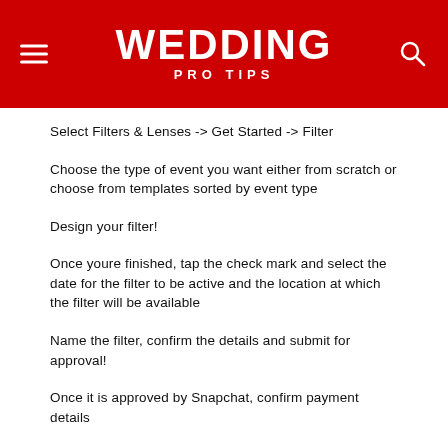WEDDING PRO TIPS
Select Filters & Lenses -> Get Started -> Filter
Choose the type of event you want either from scratch or choose from templates sorted by event type
Design your filter!
Once youre finished, tap the check mark and select the date for the filter to be active and the location at which the filter will be available
Name the filter, confirm the details and submit for approval!
Once it is approved by Snapchat, confirm payment details
Recommended Reading: Wedding Planning Spreadsheets
How Do You Use That Snapchat Filt...